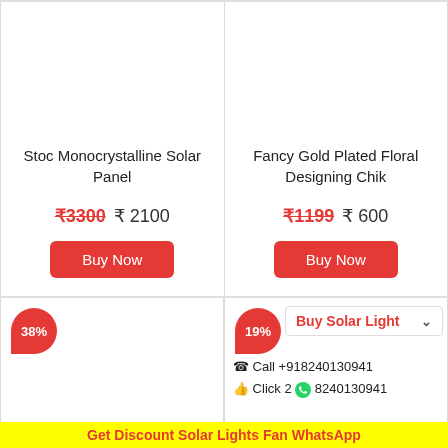Stoc Monocrystalline Solar Panel
₹3300  ₹ 2100
Buy Now
Fancy Gold Plated Floral Designing Chik
₹1199  ₹ 600
Buy Now
38%
19%
Buy Solar Light
Call +918240130941
Click 2  8240130941
Get Discount Solar Lights Fan WhatsApp